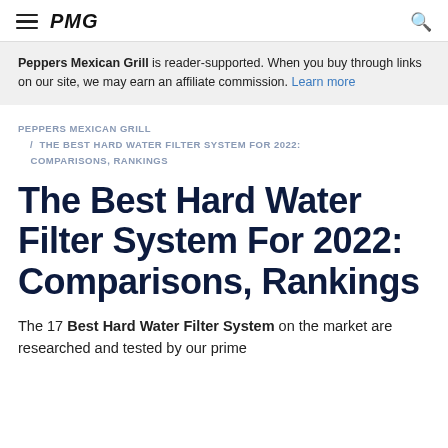PMG
Peppers Mexican Grill is reader-supported. When you buy through links on our site, we may earn an affiliate commission. Learn more
PEPPERS MEXICAN GRILL / THE BEST HARD WATER FILTER SYSTEM FOR 2022: COMPARISONS, RANKINGS
The Best Hard Water Filter System For 2022: Comparisons, Rankings
The 17 Best Hard Water Filter System on the market are researched and tested by our prime